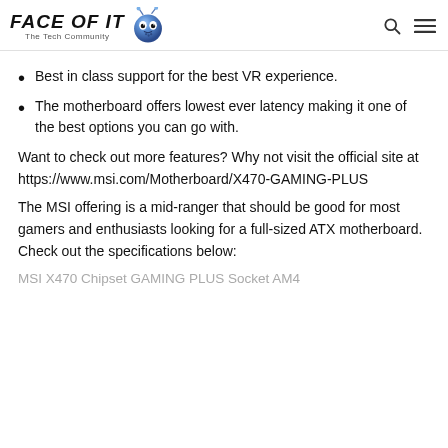FACE OF IT The Tech Community
Best in class support for the best VR experience.
The motherboard offers lowest ever latency making it one of the best options you can go with.
Want to check out more features? Why not visit the official site at https://www.msi.com/Motherboard/X470-GAMING-PLUS
The MSI offering is a mid-ranger that should be good for most gamers and enthusiasts looking for a full-sized ATX motherboard. Check out the specifications below:
MSI X470 Chipset GAMING PLUS Socket AM4